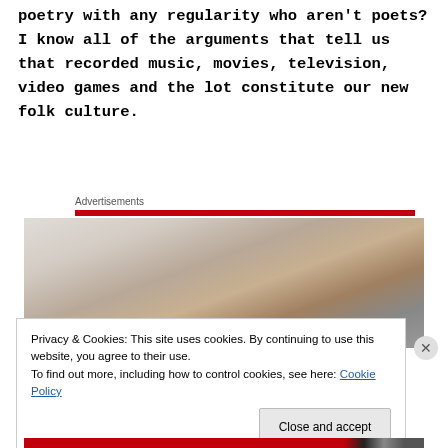poetry with any regularity who aren't poets? I know all of the arguments that tell us that recorded music, movies, television, video games and the lot constitute our new folk culture.
Advertisements
[Figure (photo): Blurry close-up photo of a baby or infant, soft warm tones with white background]
Privacy & Cookies: This site uses cookies. By continuing to use this website, you agree to their use.
To find out more, including how to control cookies, see here: Cookie Policy
Close and accept